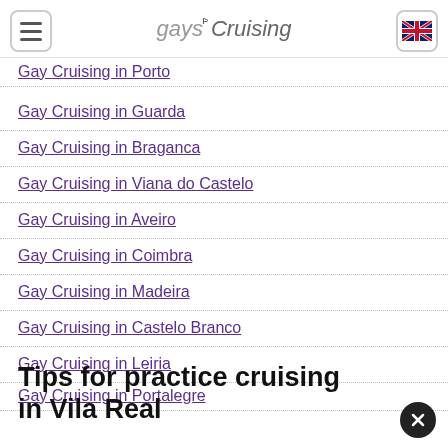gaysCruising
Gay Cruising in Porto
Gay Cruising in Guarda
Gay Cruising in Braganca
Gay Cruising in Viana do Castelo
Gay Cruising in Aveiro
Gay Cruising in Coimbra
Gay Cruising in Madeira
Gay Cruising in Castelo Branco
Gay Cruising in Leiria
Gay Cruising in Portalegre
Tips for practice cruising in Vila Real